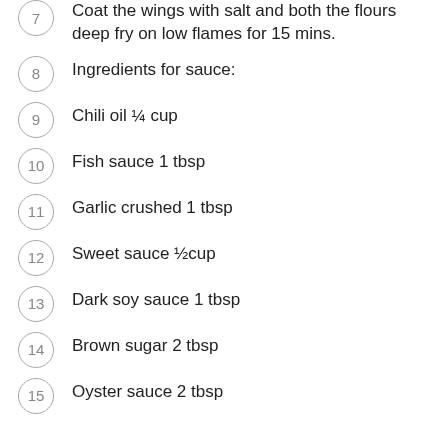7  Coat the wings with salt and both the flours deep fry on low flames for 15 mins.
8  Ingredients for sauce:
9  Chili oil ¼ cup
10  Fish sauce 1 tbsp
11  Garlic crushed 1 tbsp
12  Sweet sauce ½cup
13  Dark soy sauce 1 tbsp
14  Brown sugar 2 tbsp
15  Oyster sauce 2 tbsp